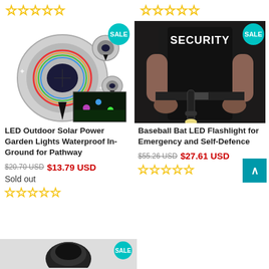[Figure (other): Five empty star rating outlines (top row, left product)]
[Figure (other): Five empty star rating outlines (top row, right product)]
[Figure (photo): LED Outdoor Solar Power garden lights product photo with SALE badge]
[Figure (photo): Baseball Bat LED Flashlight held by security person with SALE badge]
LED Outdoor Solar Power Garden Lights Waterproof In-Ground for Pathway
Baseball Bat LED Flashlight for Emergency and Self-Defence
$20.70 USD $13.79 USD
$55.26 USD $27.61 USD
Sold out
[Figure (other): Five empty star rating outlines (bottom, left product)]
[Figure (other): Five empty star rating outlines (bottom, right product)]